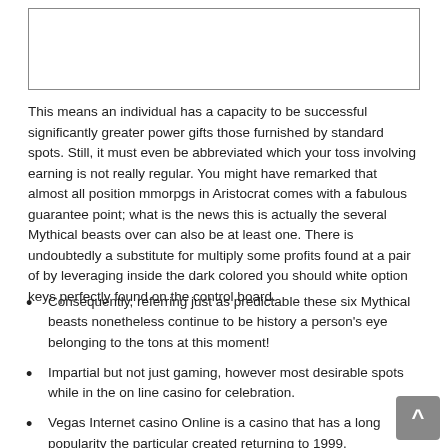[Figure (other): Empty white box with border at the top of the page]
This means an individual has a capacity to be successful significantly greater power gifts those furnished by standard spots. Still, it must even be abbreviated which your toss involving earning is not really regular. You might have remarked that almost all position mmorpgs in Aristocrat comes with a fabulous guarantee point; what is the news this is actually the several Mythical beasts over can also be at least one. There is undoubtedly a substitute for multiply some profits found at a pair of by leveraging inside the dark colored you should white option keys perfectly found on the control board.
Consequently, referring just as predictable these six Mythical beasts nonetheless continue to be history a person's eye belonging to the tons at this moment!
Impartial but not just gaming, however most desirable spots while in the on line casino for celebration.
Vegas Internet casino Online is a casino that has a long popularity the particular created returning to 1999.
Basically, "pokies" is a second saying used to refer to spots nationwide it's essential to Newer Zealand.